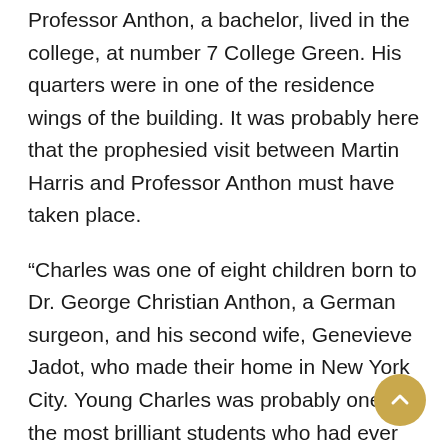Professor Anthon, a bachelor, lived in the college, at number 7 College Green. His quarters were in one of the residence wings of the building. It was probably here that the prophesied visit between Martin Harris and Professor Anthon must have taken place.
“Charles was one of eight children born to Dr. George Christian Anthon, a German surgeon, and his second wife, Genevieve Jadot, who made their home in New York City. Young Charles was probably one of the most brilliant students who had ever attended Columbia College. He won so many prizes and honors that, to give other students a chance, his name was withheld from scholastic competition.
“At first his main interest was law, but in 1820, one year after being admitted to the bar, he became adjunct professor of Greek and Latin at Columbia College and in 1820 was…